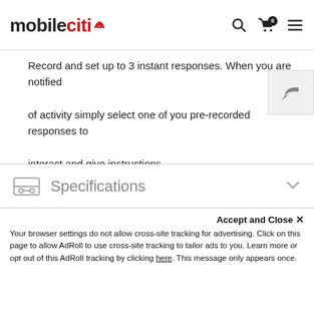mobileciti
Record and set up to 3 instant responses. When you are notified of activity simply select one of you pre-recorded responses to interact and give instructions.
“Hey Google, show me my front door”
Connect your Doorbell to Google Voice Assistant or Amazon Alexa and check in anytime on what’s happening outside your home.
Specifications
Accept and Close × Your browser settings do not allow cross-site tracking for advertising. Click on this page to allow AdRoll to use cross-site tracking to tailor ads to you. Learn more or opt out of this AdRoll tracking by clicking here. This message only appears once.